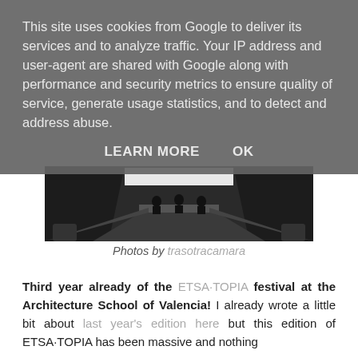This site uses cookies from Google to deliver its services and to analyze traffic. Your IP address and user-agent are shared with Google along with performance and security metrics to ensure quality of service, generate usage statistics, and to detect and address abuse.
LEARN MORE    OK
[Figure (photo): Black and white photo of a conference room or lecture hall with three people seated at a long table at the far end, shot from a low perspective with converging lines of the table leading toward the subjects.]
Photos by trasotracamara
Third year already of the ETSA·TOPIA festival at the Architecture School of Valencia! I already wrote a little bit about last year's edition here but this edition of ETSA·TOPIA has been massive and nothing